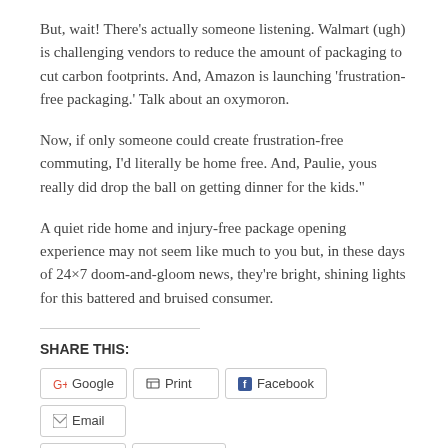But, wait! There’s actually someone listening. Walmart (ugh) is challenging vendors to reduce the amount of packaging to cut carbon footprints. And, Amazon is launching ‘frustration-free packaging.’ Talk about an oxymoron.
Now, if only someone could create frustration-free commuting, I’d literally be home free. And, Paulie, yous really did drop the ball on getting dinner for the kids."
A quiet ride home and injury-free package opening experience may not seem like much to you but, in these days of 24×7 doom-and-gloom news, they’re bright, shining lights for this battered and bruised consumer.
SHARE THIS:
Google  Print  Facebook  Email  Twitter  LinkedIn
This entry was posted in Client Relations, Environmental issues, Health, Leadership, Travel and tagged blood, bomb proof